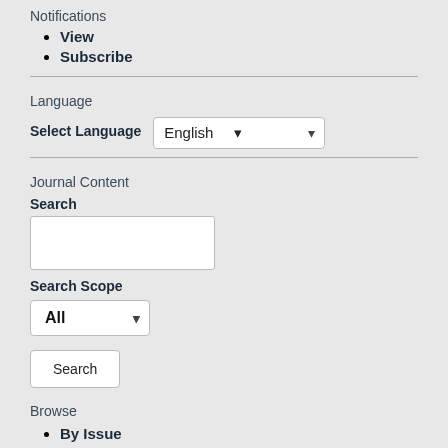Notifications
View
Subscribe
Language
Select Language: English
Journal Content
Search
Search Scope: All
Search
Browse
By Issue
By Author
By Title